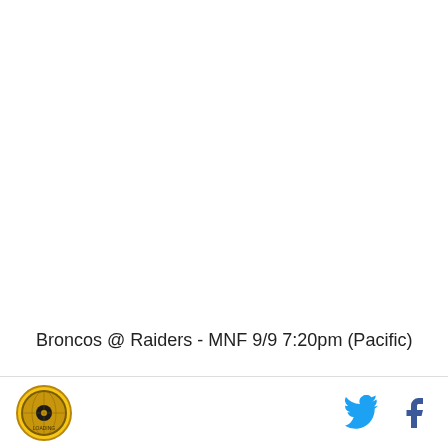Broncos @ Raiders - MNF 9/9 7:20pm (Pacific)
IMPORTANT RULE
Logo and social icons (Twitter, Facebook)